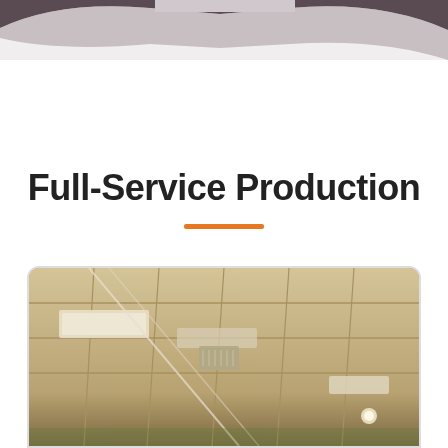[Figure (illustration): Decorative header with dark brownish-purple wave/arc shape at the top of the page]
Full-Service Production
[Figure (photo): Interior photo of a commercial ceiling with drop ceiling tiles, fluorescent light fixtures, and HVAC vents]